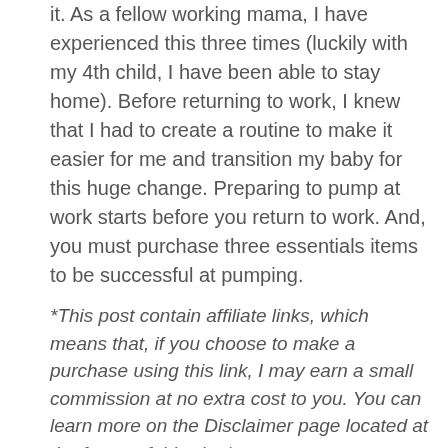it. As a fellow working mama, I have experienced this three times (luckily with my 4th child, I have been able to stay home). Before returning to work, I knew that I had to create a routine to make it easier for me and transition my baby for this huge change. Preparing to pump at work starts before you return to work. And, you must purchase three essentials items to be successful at pumping.
*This post contain affiliate links, which means that, if you choose to make a purchase using this link, I may earn a small commission at no extra cost to you. You can learn more on the Disclaimer page located at the footer of this site.*